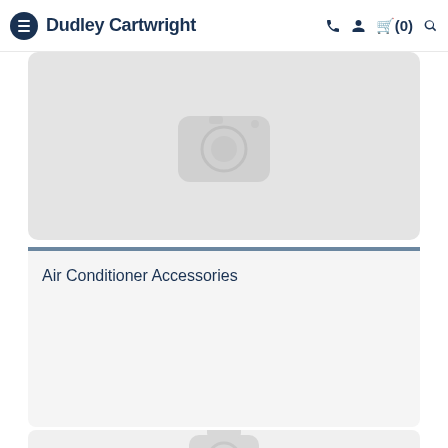Dudley Cartwright
[Figure (photo): Product placeholder image with camera icon on grey rounded rectangle background]
Air Conditioner Accessories
[Figure (photo): Second product placeholder image with camera icon, partially visible at bottom of page]